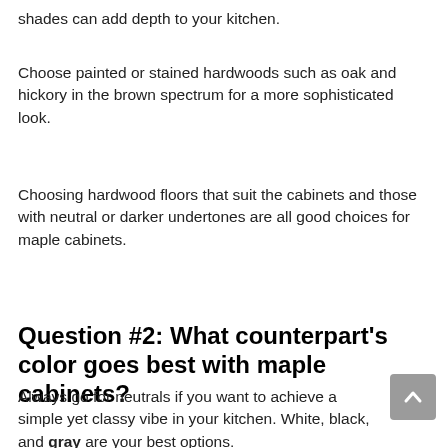shades can add depth to your kitchen.
Choose painted or stained hardwoods such as oak and hickory in the brown spectrum for a more sophisticated look.
Choosing hardwood floors that suit the cabinets and those with neutral or darker undertones are all good choices for maple cabinets.
Question #2: What counterpart's color goes best with maple cabinets?
Always go for neutrals if you want to achieve a simple yet classy vibe in your kitchen. White, black, and gray are your best options.